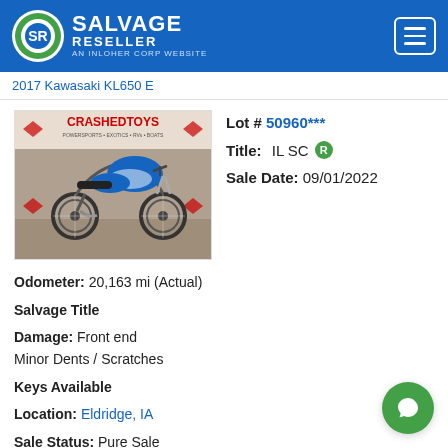SALVAGE RESELLER — AN INLOHER CORP WEBSITE
2017 Kawasaki KL650 E
[Figure (photo): Motorcycle listing photo: blue and white dual-sport Kawasaki motorcycle photographed in front of CrashedToys branded backdrop]
Lot # 50960***
Title: IL SC R
Sale Date: 09/01/2022
Odometer: 20,163 mi (Actual)
Salvage Title
Damage: Front end
Minor Dents / Scratches
Keys Available
Location: Eldridge, IA
Sale Status: Pure Sale
Pre Bidding Ends in: 1 Hour, 25 Minutes